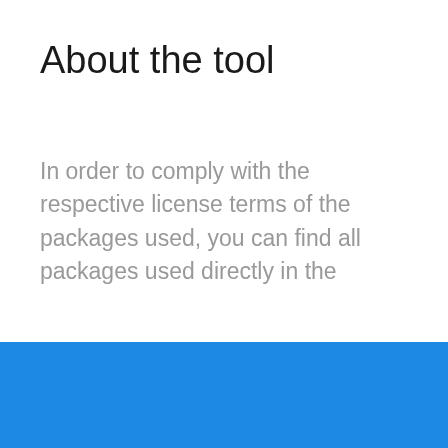About the tool
In order to comply with the respective license terms of the packages used, you can find all packages used directly in the
Cookies In order for this website to function properly, we sometimes place small files - so-called cookies - on your device. You can determine yourself at any time which cookies we are allowed to store and which are not.
✔ Accept
Read more →
Change settings ⚙